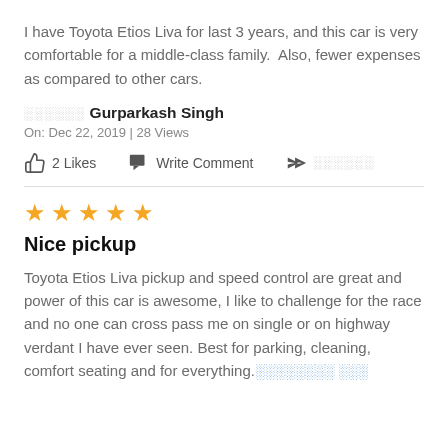I have Toyota Etios Liva for last 3 years, and this car is very comfortable for a middle-class family.  Also, fewer expenses as compared to other cars.
░░░░░░ Gurparkash Singh
On: Dec 22, 2019 | 28 Views
👍 2 Likes   💬 Write Comment   ➤ ░░░░░░
★★★★★
Nice pickup
Toyota Etios Liva pickup and speed control are great and power of this car is awesome, I like to challenge for the race and no one can cross pass me on single or on highway verdant I have ever seen. Best for parking, cleaning, comfort seating and for everything.░░░░░░░░ ░░░